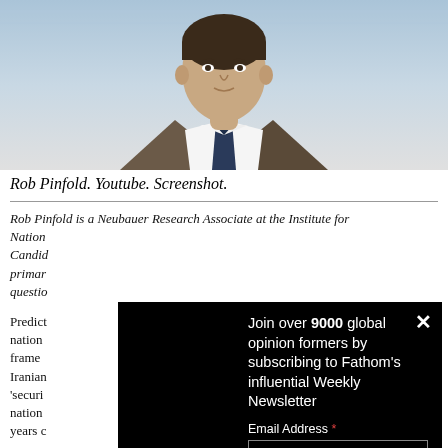[Figure (photo): Photo of Rob Pinfold, a man in a suit and tie, partial torso/head shot against a blue/grey background]
Rob Pinfold. Youtube. Screenshot.
Rob Pinfold is a Neubauer Research Associate at the Institute for National...Candid...primary...question...
Predicting...nation...frame...Iranian...'securi...nation...years c...
[Figure (infographic): Newsletter subscription popup overlay with Facebook logo partial. Text: Join over 9000 global opinion formers by subscribing to Fathom's influential Weekly Newsletter. Email Address field. Close X button.]